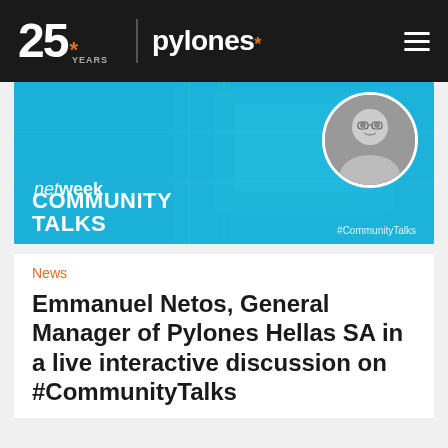25* YEARS | pylones*
[Figure (photo): Netweek Community Talks banner in blue with a man's portrait in a circular frame and text: netweek COMMUNITY TALKS #CommunityTalks]
News
Emmanuel Netos, General Manager of Pylones Hellas SA in a live interactive discussion on #CommunityTalks